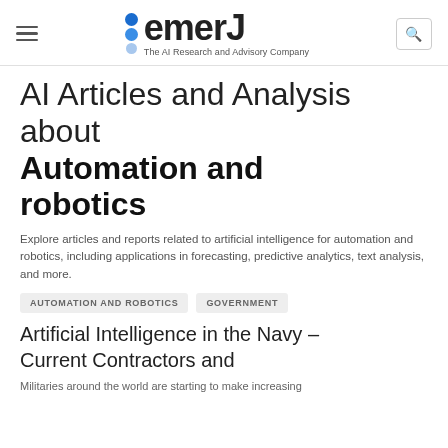EMERJ – The AI Research and Advisory Company
AI Articles and Analysis about Automation and robotics
Explore articles and reports related to artificial intelligence for automation and robotics, including applications in forecasting, predictive analytics, text analysis, and more.
AUTOMATION AND ROBOTICS
GOVERNMENT
Artificial Intelligence in the Navy – Current Contractors and
Militaries around the world are starting to make increasing